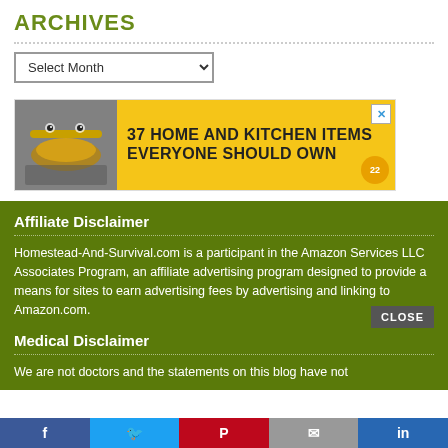ARCHIVES
Select Month
[Figure (other): Advertisement banner: '37 HOME AND KITCHEN ITEMS EVERYONE SHOULD OWN' on yellow background with food image on left]
Affiliate Disclaimer
Homestead-And-Survival.com is a participant in the Amazon Services LLC Associates Program, an affiliate advertising program designed to provide a means for sites to earn advertising fees by advertising and linking to Amazon.com.
Medical Disclaimer
We are not doctors and the statements on this blog have not
CLOSE